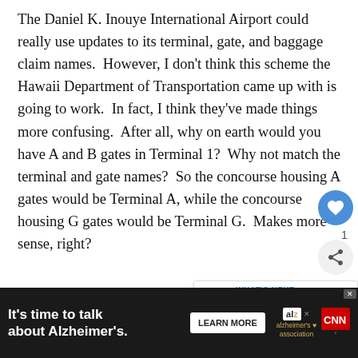The Daniel K. Inouye International Airport could really use updates to its terminal, gate, and baggage claim names.  However, I don't think this scheme the Hawaii Department of Transportation came up with is going to work.  In fact, I think they've made things more confusing.  After all, why on earth would you have A and B gates in Terminal 1?  Why not match the terminal and gate names?  So the concourse housing A gates would be Terminal A, while the concourse housing G gates would be Terminal G.  Makes more sense, right?
Even the whole Terminal 3 situation makes little se...
[Figure (screenshot): Social media UI overlay: heart/like button (blue circle with heart), like count of 1, share button (grey circle with share icon), and a 'WHAT'S NEXT' card showing Washington - Jeffsetter... with a landscape thumbnail]
[Figure (infographic): Advertisement bar at bottom: dark background, text 'It's time to talk about Alzheimer's.' with LEARN MORE button, Alzheimer's Association logo, and CNN logo]